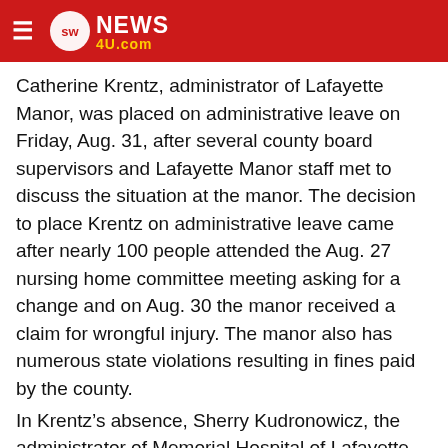SWNews4U.com
Catherine Krentz, administrator of Lafayette Manor, was placed on administrative leave on Friday, Aug. 31, after several county board supervisors and Lafayette Manor staff met to discuss the situation at the manor. The decision to place Krentz on administrative leave came after nearly 100 people attended the Aug. 27 nursing home committee meeting asking for a change and on Aug. 30 the manor received a claim for wrongful injury. The manor also has numerous state violations resulting in fines paid by the county.
In Krentz's absence, Sherry Kudronowicz, the administrator of Memorial Hospital of Lafayette County, is the interim administrator. She is a state of Wisconsin licensed nursing home administrator.
At the Sept. 25 meeting Ron Niemann of the manor committee made the motion, “Catherine Krentz will remain on administrative leave for three months at which time that